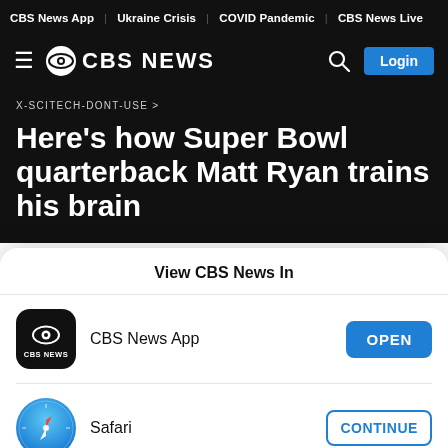CBS News App | Ukraine Crisis | COVID Pandemic | CBS News Live
[Figure (logo): CBS News logo with hamburger menu, eye symbol, CBS NEWS text, search icon, and Login button on dark background]
X-SCITECH-DONT-USE >
Here's how Super Bowl quarterback Matt Ryan trains his brain
View CBS News In
[Figure (logo): CBS News App icon - black rounded square with CBS eye logo]
CBS News App
OPEN
[Figure (logo): Safari browser icon - compass with red and blue needle]
Safari
CONTINUE